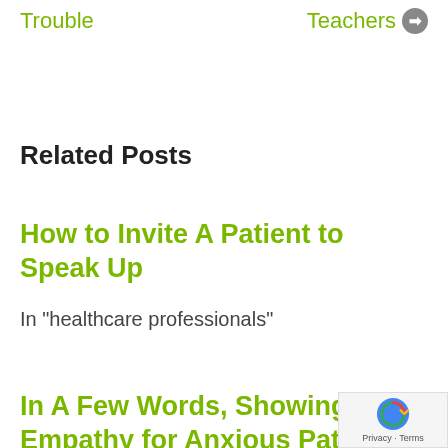Trouble
Teachers →
Related Posts
How to Invite A Patient to Speak Up
In "healthcare professionals"
In A Few Words, Showing Empathy for Anxious Patients